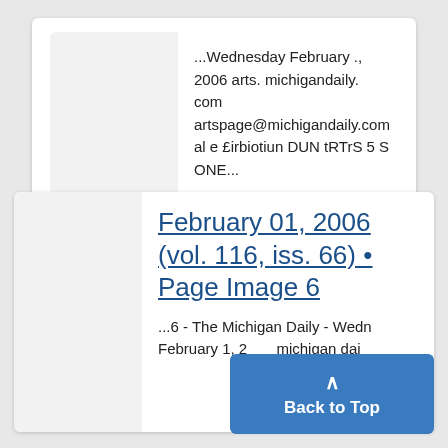...Wednesday February ., 2006 arts. michigandaily. com artspage@michigandaily.com al e £irbiotiun DUN tRTrS 5 S ONE...
February 01, 2006 (vol. 116, iss. 66) • Page Image 6
...6 - The Michigan Daily - Wednesday February 1, 2006 michigan dai...